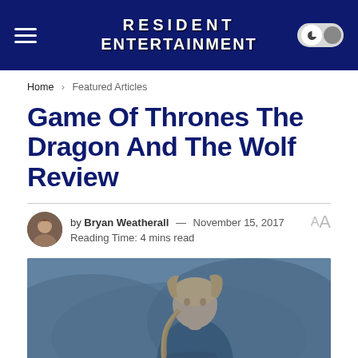RESIDENT ENTERTAINMENT
Home > Featured Articles
Game Of Thrones The Dragon And The Wolf Review
by Bryan Weatherall — November 15, 2017
Reading Time: 4 mins read
[Figure (photo): A character from Game of Thrones with braided hair, tinted in blue-grey, looking to the side in an outdoor rocky setting.]